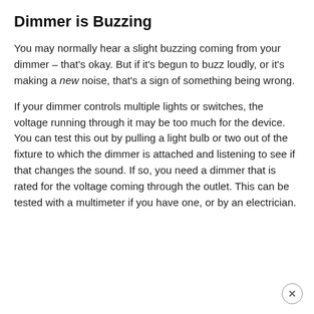Dimmer is Buzzing
You may normally hear a slight buzzing coming from your dimmer – that's okay. But if it's begun to buzz loudly, or it's making a new noise, that's a sign of something being wrong.
If your dimmer controls multiple lights or switches, the voltage running through it may be too much for the device. You can test this out by pulling a light bulb or two out of the fixture to which the dimmer is attached and listening to see if that changes the sound. If so, you need a dimmer that is rated for the voltage coming through the outlet. This can be tested with a multimeter if you have one, or by an electrician.